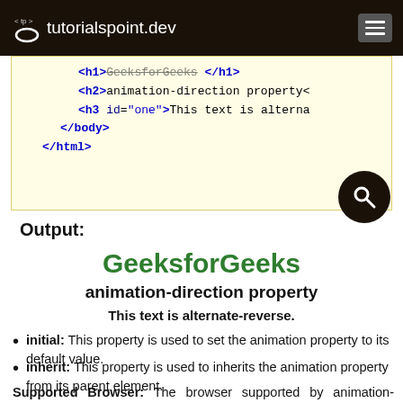tutorialspoint.dev
[Figure (screenshot): Code block showing HTML snippet with h1, h2, h3 tags on a light yellow background]
Output:
GeeksforGeeks
animation-direction property
This text is alternate-reverse.
initial: This property is used to set the animation property to its default value.
inherit: This property is used to inherits the animation property from its parent element.
Supported Browser: The browser supported by animation-direction are listed below: